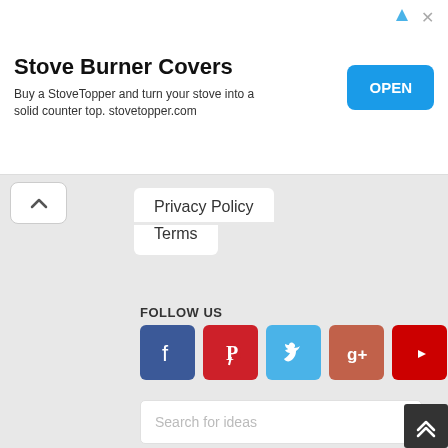[Figure (screenshot): Advertisement banner for Stove Burner Covers / StoveTopper with OPEN button]
Privacy Policy
Terms
FOLLOW US
[Figure (infographic): Row of five social media icon buttons: Facebook, Pinterest, Twitter, Google+, YouTube]
[Figure (screenshot): Search input field with placeholder 'Search for ideas' and a red Search button below]